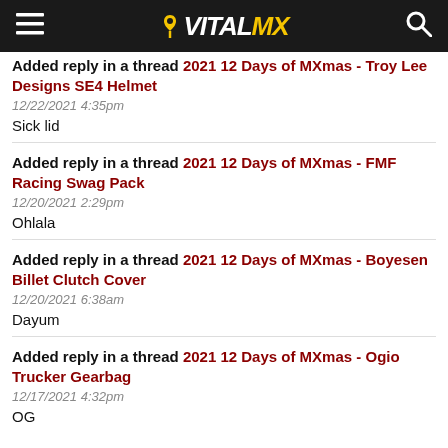VitalMX
Added reply in a thread 2021 12 Days of MXmas - Troy Lee Designs SE4 Helmet
12/22/2021 4:35pm
Sick lid
Added reply in a thread 2021 12 Days of MXmas - FMF Racing Swag Pack
12/20/2021 2:29pm
Ohlala
Added reply in a thread 2021 12 Days of MXmas - Boyesen Billet Clutch Cover
12/20/2021 6:38am
Dayum
Added reply in a thread 2021 12 Days of MXmas - Ogio Trucker Gearbag
12/17/2021 4:32pm
OG